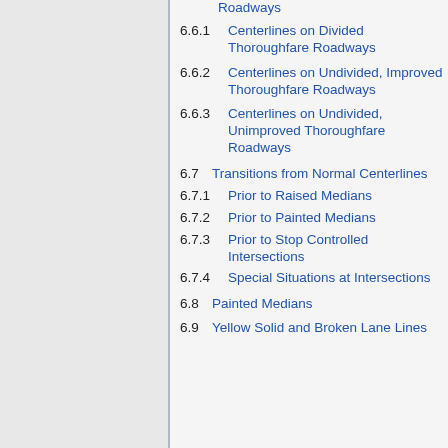6.6.1  Centerlines on Divided Thoroughfare Roadways
6.6.2  Centerlines on Undivided, Improved Thoroughfare Roadways
6.6.3  Centerlines on Undivided, Unimproved Thoroughfare Roadways
6.7  Transitions from Normal Centerlines
6.7.1  Prior to Raised Medians
6.7.2  Prior to Painted Medians
6.7.3  Prior to Stop Controlled Intersections
6.7.4  Special Situations at Intersections
6.8  Painted Medians
6.9  Yellow Solid and Broken Lane Lines